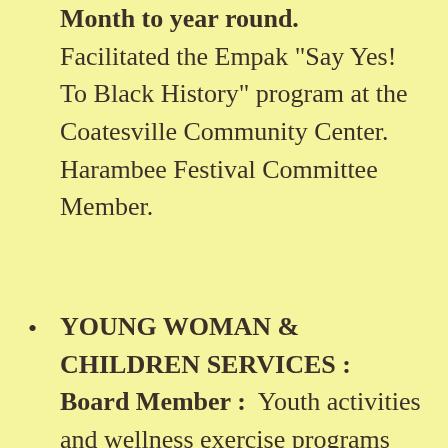Month to year round. Facilitated the Empak "Say Yes! To Black History" program at the Coatesville Community Center. Harambee Festival Committee Member.
YOUNG WOMAN & CHILDREN SERVICES : Board Member : Youth activities and wellness exercise programs for community and the welfare of